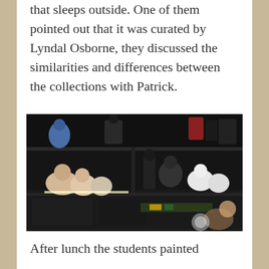that sleeps outside. One of them pointed out that it was curated by Lyndal Osborne, they discussed the similarities and differences between the collections with Patrick.
[Figure (photo): A dark display cabinet with multiple shelves filled with various figurines, toys, and collectible objects. Soft lighting illuminates the items inside the cabinet compartments. A child is partially visible in the lower right corner.]
After lunch the students painted